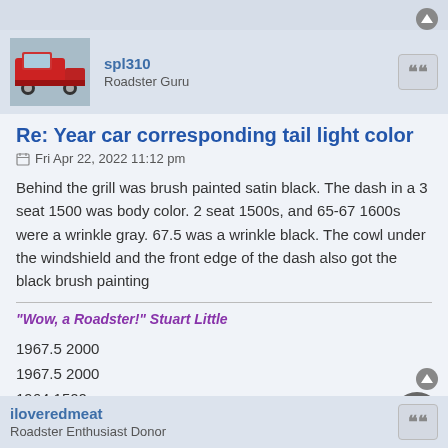spl310 — Roadster Guru
Re: Year car corresponding tail light color
Fri Apr 22, 2022 11:12 pm
Behind the grill was brush painted satin black. The dash in a 3 seat 1500 was body color. 2 seat 1500s, and 65-67 1600s were a wrinkle gray. 67.5 was a wrinkle black. The cowl under the windshield and the front edge of the dash also got the black brush painting
"Wow, a Roadster!" Stuart Little
1967.5 2000
1967.5 2000
1964 1500
1964 1500
1967.5 1600
1968 chassis
2000 Durango
1995 F350 Powerstroke!
More...
iloveredmeat — Roadster Enthusiast Donor